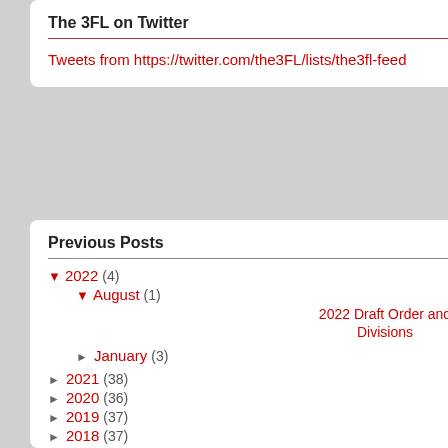The 3FL on Twitter
Tweets from https://twitter.com/the3FL/lists/the3fl-feed
Previous Posts
▼ 2022 (4)
▼ August (1)
2022 Draft Order and Divisions
► January (3)
► 2021 (38)
► 2020 (36)
► 2019 (37)
► 2018 (37)
► 2017 (37)
► 2016 (39)
12. Dumbbums
The league page have been updated Thursday, September
Good luck this s
[Figure (logo): 3FL logo with stylized text THE C]
Posted by sinker
Friday, January 07
3FL Notes
Here are the top of our records pa date through the this year!!